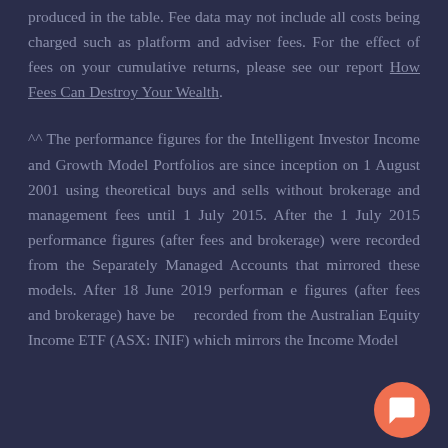produced in the table. Fee data may not include all costs being charged such as platform and adviser fees. For the effect of fees on your cumulative returns, please see our report How Fees Can Destroy Your Wealth.
^^ The performance figures for the Intelligent Investor Income and Growth Model Portfolios are since inception on 1 August 2001 using theoretical buys and sells without brokerage and management fees until 1 July 2015. After the 1 July 2015 performance figures (after fees and brokerage) were recorded from the Separately Managed Accounts that mirrored these models. After 18 June 2019 performance figures (after fees and brokerage) have been recorded from the Australian Equity Income ETF (ASX: INIF) which mirrors the Income Model